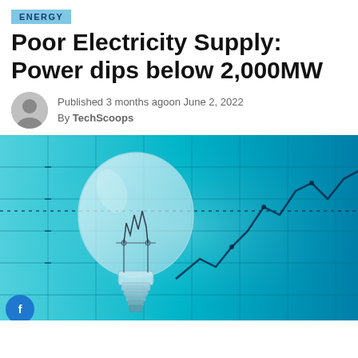ENERGY
Poor Electricity Supply: Power dips below 2,000MW
Published 3 months agoon June 2, 2022
By TechScoops
[Figure (photo): A clear glass incandescent light bulb in the foreground against a blurred blue financial chart background with grid lines and an upward trending line graph.]